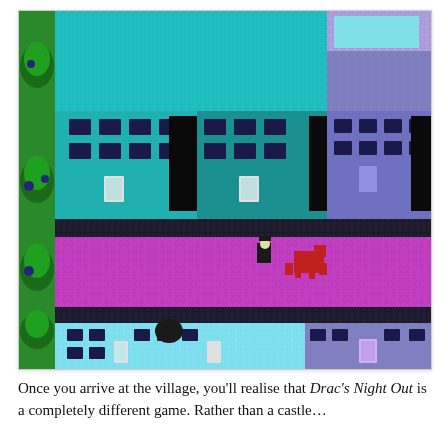[Figure (screenshot): A retro pixel-art top-down video game screenshot showing a village with teal and purple buildings arranged in rows, separated by magenta roads. Green trees line the left edge and bottom. A player character and a red horse/enemy sprite are visible on the central road. The graphics style is consistent with early DOS or Amiga era games.]
Once you arrive at the village, you'll realise that Drac's Night Out is a completely different game. Rather than a castle…